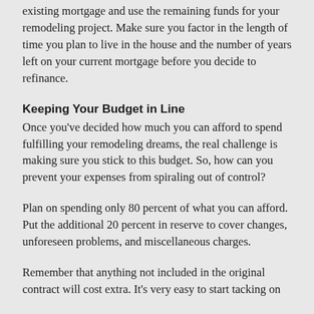existing mortgage and use the remaining funds for your remodeling project. Make sure you factor in the length of time you plan to live in the house and the number of years left on your current mortgage before you decide to refinance.
Keeping Your Budget in Line
Once you've decided how much you can afford to spend fulfilling your remodeling dreams, the real challenge is making sure you stick to this budget. So, how can you prevent your expenses from spiraling out of control?
Plan on spending only 80 percent of what you can afford. Put the additional 20 percent in reserve to cover changes, unforeseen problems, and miscellaneous charges.
Remember that anything not included in the original contract will cost extra. It's very easy to start tacking on